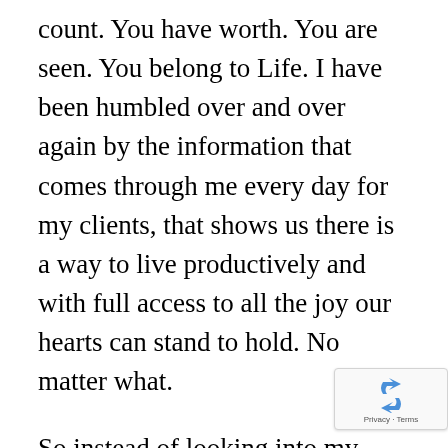count. You have worth. You are seen. You belong to Life. I have been humbled over and over again by the information that comes through me every day for my clients, that shows us there is a way to live productively and with full access to all the joy our hearts can stand to hold. No matter what.
So instead of looking into my clients' lives for a map that will only take them towards the “good” and away from the “bad”, I ask for the information that will be of most benefit to them. When there is current